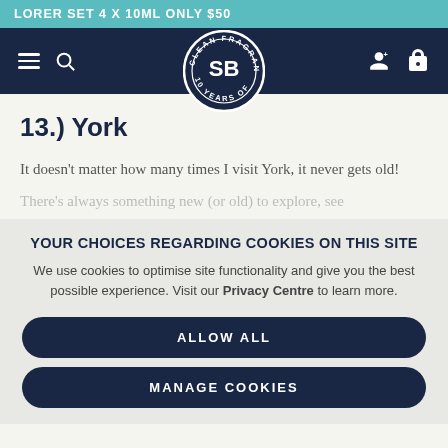LORER SET 4 x 10ML ONLY $50
[Figure (logo): SB Clean Fragrance 10 Years circular logo in dark navy with white text and border]
13.) York
It doesn’t matter how many times I visit York, it never gets old!
There’s always something new (or old) to explore, see
YOUR CHOICES REGARDING COOKIES ON THIS SITE
We use cookies to optimise site functionality and give you the best possible experience. Visit our Privacy Centre to learn more.
ALLOW ALL
MANAGE COOKIES